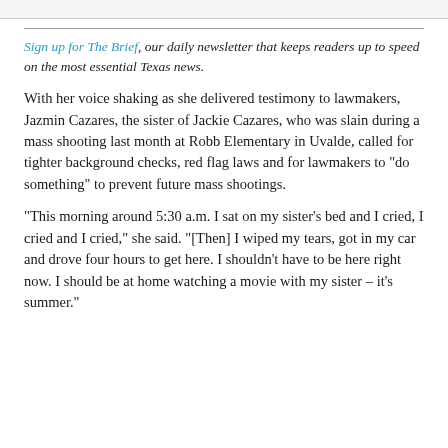Sign up for The Brief, our daily newsletter that keeps readers up to speed on the most essential Texas news.
With her voice shaking as she delivered testimony to lawmakers, Jazmin Cazares, the sister of Jackie Cazares, who was slain during a mass shooting last month at Robb Elementary in Uvalde, called for tighter background checks, red flag laws and for lawmakers to “do something” to prevent future mass shootings.
“This morning around 5:30 a.m. I sat on my sister’s bed and I cried, I cried and I cried,” she said. “[Then] I wiped my tears, got in my car and drove four hours to get here. I shouldn’t have to be here right now. I should be at home watching a movie with my sister – it’s summer.”